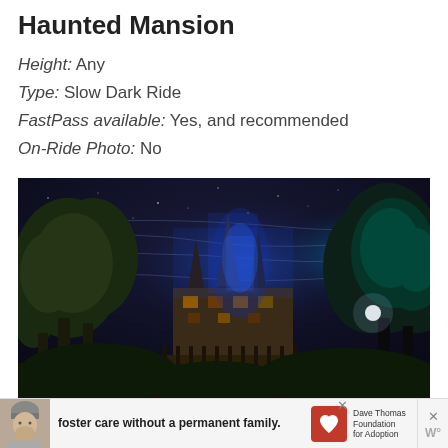Haunted Mansion
Height: Any
Type: Slow Dark Ride
FastPass available: Yes, and recommended
On-Ride Photo: No
[Figure (photo): Night photo of the Haunted Mansion attraction at Disney, illuminated with blue lighting against a dark sky with trees in the foreground]
[Figure (infographic): Advertisement banner for Dave Thomas Foundation for Adoption about foster care without a permanent family, showing a person in a beanie hat and the foundation logo]